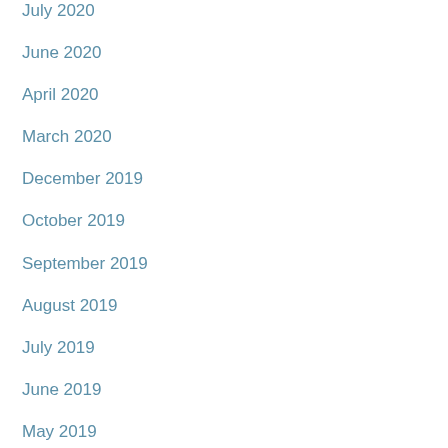July 2020
June 2020
April 2020
March 2020
December 2019
October 2019
September 2019
August 2019
July 2019
June 2019
May 2019
April 2019
March 2019
February 2019